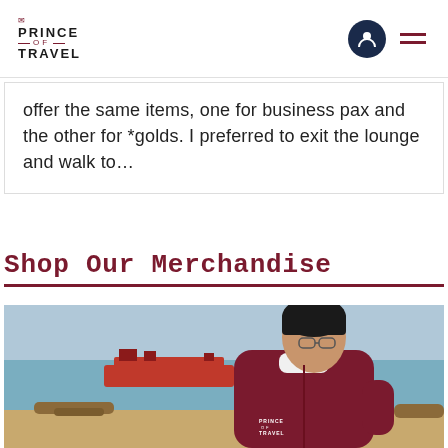PRINCE OF TRAVEL
offer the same items, one for business pax and the other for *golds. I preferred to exit the lounge and walk to…
Shop Our Merchandise
[Figure (photo): Person wearing a dark maroon Prince of Travel hoodie standing on a beach, looking sideways. A large red cargo ship is visible on the water in the background.]